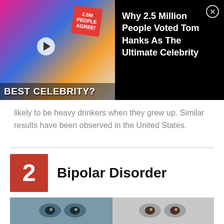[Figure (photo): Advertisement banner showing two celebrities with text '2.5M People Agree!' and 'BEST CELEBRITY?' overlaid on a colorful background, with title 'Why 2.5 Million People Voted Tom Hanks As The Ultimate Celebrity' on black background]
likely to be heavy drinkers when they grew up. Similar results have been observed in the United States.
2 Bipolar Disorder
[Figure (photo): Split image showing two people's faces close up — left side with blue-toned lighting, right side with neutral lighting, representing Bipolar Disorder]